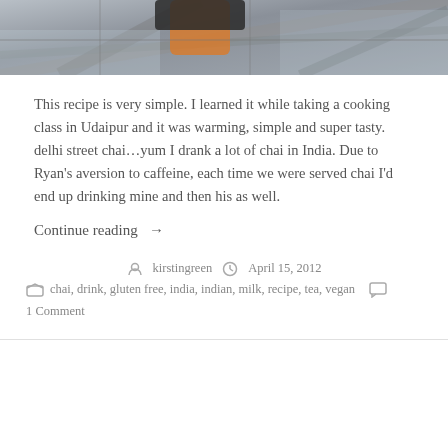[Figure (photo): Cropped bottom portion of a photo showing a person standing on a glass or metal lattice structure, wearing orange pants, viewed from above.]
This recipe is very simple. I learned it while taking a cooking class in Udaipur and it was warming, simple and super tasty. delhi street chai…yum I drank a lot of chai in India. Due to Ryan's aversion to caffeine, each time we were served chai I'd end up drinking mine and then his as well.
Continue reading →
kirstingreen   April 15, 2012
chai, drink, gluten free, india, indian, milk, recipe, tea, vegan   1 Comment